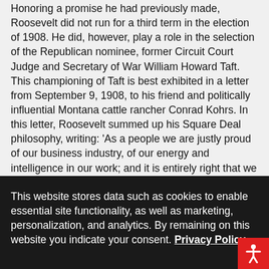Honoring a promise he had previously made, Roosevelt did not run for a third term in the election of 1908. He did, however, play a role in the selection of the Republican nominee, former Circuit Court Judge and Secretary of War William Howard Taft. This championing of Taft is best exhibited in a letter from September 9, 1908, to his friend and politically influential Montana cattle rancher Conrad Kohrs. In this letter, Roosevelt summed up his Square Deal philosophy, writing: 'As a people we are justly proud of our business industry, of our energy and intelligence in our work; and it is entirely right that we should ask ourselves as to any given course of conduct, 'Will it be profitable?' But it is also no less emphatically true that the bulk of our people, the plain people who found in Abraham Lincoln their especial champion and spokesman, regard the question, 'Is this morally right?' as even more important than the
This website stores data such as cookies to enable essential site functionality, as well as marketing, personalization, and analytics. By remaining on this website you indicate your consent. Privacy Policy